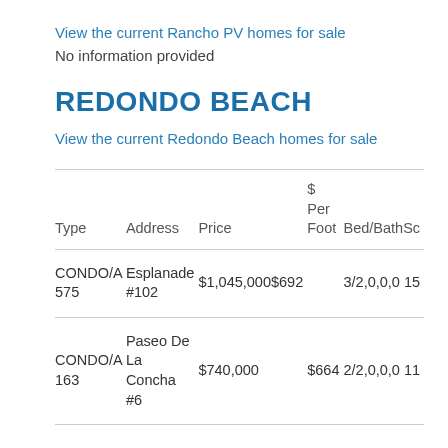View the current Rancho PV homes for sale
No information provided
REDONDO BEACH
View the current Redondo Beach homes for sale
| Type | Address | Price | $ Per Foot | Bed/BathSc |
| --- | --- | --- | --- | --- |
| CONDO/A 575 | Esplanade #102 | $1,045,000 | $692 | 3/2,0,0,0 15 |
| CONDO/A 163 | Paseo De La Concha #6 | $740,000 | $664 | 2/2,0,0,0 11 |